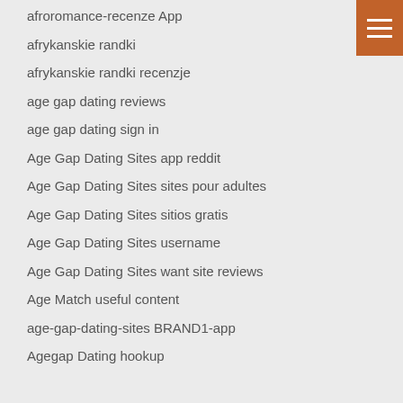[Figure (other): Hamburger menu icon - three white horizontal lines on brown/orange background, top right corner]
afroromance-recenze App
afrykanskie randki
afrykanskie randki recenzje
age gap dating reviews
age gap dating sign in
Age Gap Dating Sites app reddit
Age Gap Dating Sites sites pour adultes
Age Gap Dating Sites sitios gratis
Age Gap Dating Sites username
Age Gap Dating Sites want site reviews
Age Match useful content
age-gap-dating-sites BRAND1-app
Agegap Dating hookup